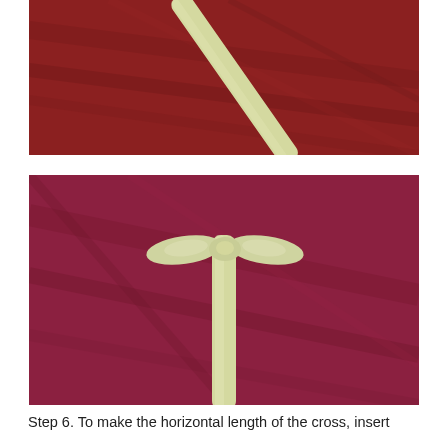[Figure (photo): A single pale yellow-green straw/reed lying diagonally on a dark reddish-brown wooden surface, viewed from above.]
[Figure (photo): A T-shaped cross made from pale yellow-green straws/reeds on a dark reddish-brown wooden surface. The horizontal piece is pinched/folded at the center where it connects to the vertical piece.]
Step 6. To make the horizontal length of the cross, insert